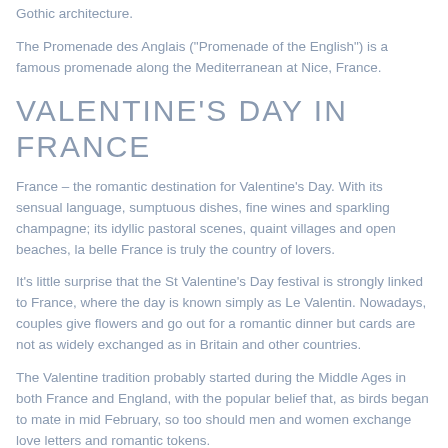Gothic architecture.
The Promenade des Anglais ("Promenade of the English") is a famous promenade along the Mediterranean at Nice, France.
VALENTINE'S DAY IN FRANCE
France – the romantic destination for Valentine’s Day. With its sensual language, sumptuous dishes, fine wines and sparkling champagne; its idyllic pastoral scenes, quaint villages and open beaches, la belle France is truly the country of lovers.
It’s little surprise that the St Valentine’s Day festival is strongly linked to France, where the day is known simply as Le Valentin. Nowadays, couples give flowers and go out for a romantic dinner but cards are not as widely exchanged as in Britain and other countries.
The Valentine tradition probably started during the Middle Ages in both France and England, with the popular belief that, as birds began to mate in mid February, so too should men and women exchange love letters and romantic tokens.
Valentine cards are known in French as cartes d’amities and the first Valentines greeting is said to have been sent by a young